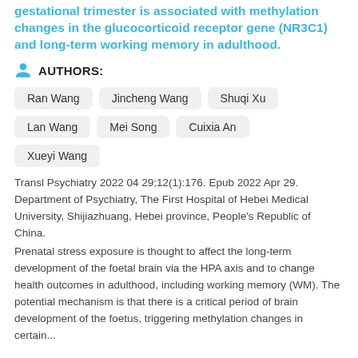gestational trimester is associated with methylation changes in the glucocorticoid receptor gene (NR3C1) and long-term working memory in adulthood.
AUTHORS:
Ran Wang
Jincheng Wang
Shuqi Xu
Lan Wang
Mei Song
Cuixia An
Xueyi Wang
Transl Psychiatry 2022 04 29;12(1):176. Epub 2022 Apr 29. Department of Psychiatry, The First Hospital of Hebei Medical University, Shijiazhuang, Hebei province, People's Republic of China.
Prenatal stress exposure is thought to affect the long-term development of the foetal brain via the HPA axis and to change health outcomes in adulthood, including working memory (WM). The potential mechanism is that there is a critical period of brain development of the foetus, triggering methylation changes in certain...